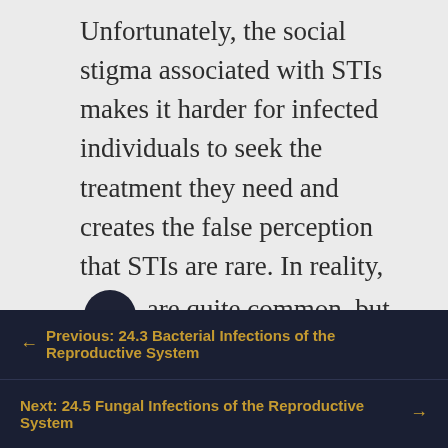Unfortunately, the social stigma associated with STIs makes it harder for infected individuals to seek the treatment they need and creates the false perception that STIs are rare. In reality, STIs are quite common, but
← Previous: 24.3 Bacterial Infections of the Reproductive System
Next: 24.5 Fungal Infections of the Reproductive System →